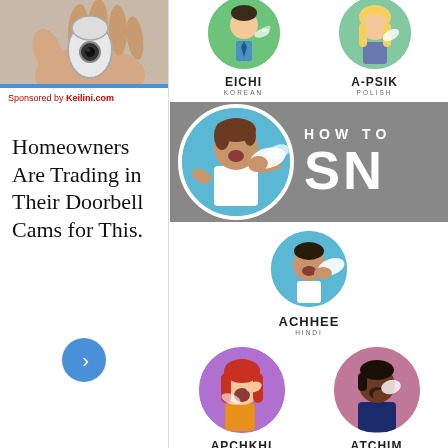[Figure (photo): Photo of a hand holding a white security camera device against a light background, with a blue bar at the bottom]
Sponsored by Keilini.com
Homeowners Are Trading in Their Doorbell Cams for This.
[Figure (illustration): Navigation button: blue circle with right arrow]
[Figure (infographic): Infographic showing how to sneeze in different languages with illustrated characters in circles. Top row: EICHI (Korean), A-PSIK (Polish). Middle banner: illustration of person sneezing with HOW TO SN text. Below banner: ACHHEE (Hindi). Bottom row: APCHKHI (Russian), ATCHIM (Portuguese).]